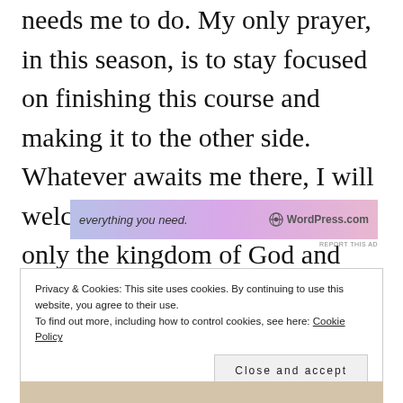needs me to do. My only prayer, in this season, is to stay focused on finishing this course and making it to the other side. Whatever awaits me there, I will welcome it. Until then, I seek only the kingdom of God and whatever else he wants me to have, he will add it onto me.
[Figure (other): WordPress.com advertisement banner with gradient background (blue to pink), text 'everything you need.' and WordPress.com logo]
Privacy & Cookies: This site uses cookies. By continuing to use this website, you agree to their use.
To find out more, including how to control cookies, see here: Cookie Policy
Close and accept
[Figure (photo): Partial photo of a person visible at the bottom of the page]